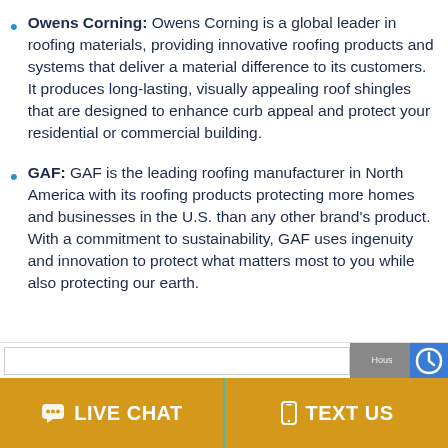Owens Corning: Owens Corning is a global leader in roofing materials, providing innovative roofing products and systems that deliver a material difference to its customers. It produces long-lasting, visually appealing roof shingles that are designed to enhance curb appeal and protect your residential or commercial building.
GAF: GAF is the leading roofing manufacturer in North America with its roofing products protecting more homes and businesses in the U.S. than any other brand's product. With a commitment to sustainability, GAF uses ingenuity and innovation to protect what matters most to you while also protecting our earth.
LIVE CHAT   TEXT US